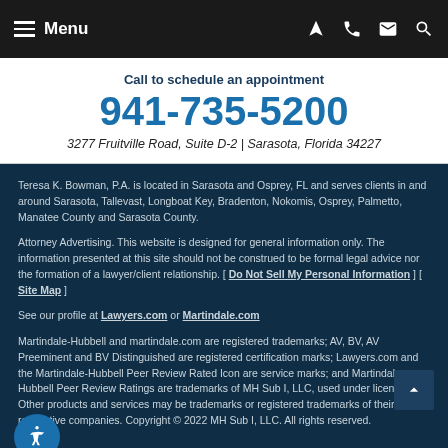Menu
Call to schedule an appointment
941-735-5200
3277 Fruitville Road, Suite D-2 | Sarasota, Florida 34227
Teresa K. Bowman, P.A. is located in Sarasota and Osprey, FL and serves clients in and around Sarasota, Tallevast, Longboat Key, Bradenton, Nokomis, Osprey, Palmetto, Manatee County and Sarasota County.
Attorney Advertising. This website is designed for general information only. The information presented at this site should not be construed to be formal legal advice nor the formation of a lawyer/client relationship. [ Do Not Sell My Personal Information ] [ Site Map ]
See our profile at Lawyers.com or Martindale.com
Martindale-Hubbell and martindale.com are registered trademarks; AV, BV, AV Preeminent and BV Distinguished are registered certification marks; Lawyers.com and the Martindale-Hubbell Peer Review Rated Icon are service marks; and Martindale-Hubbell Peer Review Ratings are trademarks of MH Sub I, LLC, used under license. Other products and services may be trademarks or registered trademarks of their respective companies. Copyright © 2022 MH Sub I, LLC. All rights reserved.